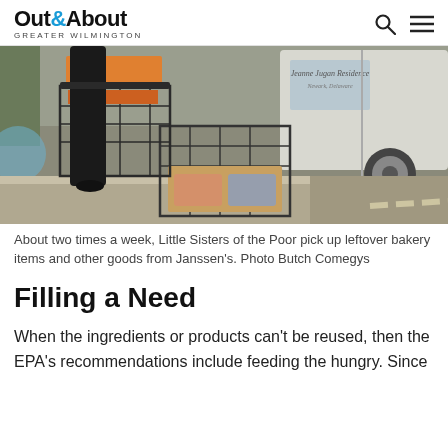Out&About GREATER WILMINGTON
[Figure (photo): Little Sisters of the Poor loading bakery items from shopping cart into van labeled 'Jeanne Jugan Residence, Newark, Delaware'. A box of baked goods is visible in foreground.]
About two times a week, Little Sisters of the Poor pick up leftover bakery items and other goods from Janssen's. Photo Butch Comegys
Filling a Need
When the ingredients or products can't be reused, then the EPA's recommendations include feeding the hungry. Since